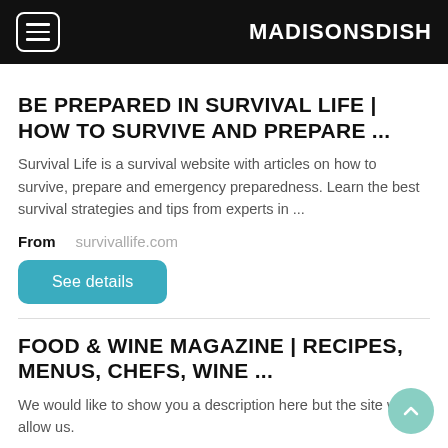MADISONSDISH
BE PREPARED IN SURVIVAL LIFE | HOW TO SURVIVE AND PREPARE ...
Survival Life is a survival website with articles on how to survive, prepare and emergency preparedness. Learn the best survival strategies and tips from experts in ...
From  survivallife.com
See details
FOOD & WINE MAGAZINE | RECIPES, MENUS, CHEFS, WINE ...
We would like to show you a description here but the site won't allow us.